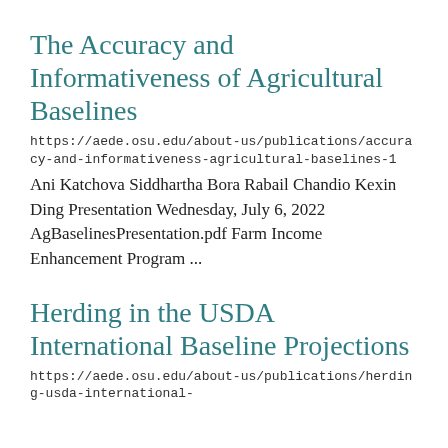The Accuracy and Informativeness of Agricultural Baselines
https://aede.osu.edu/about-us/publications/accuracy-and-informativeness-agricultural-baselines-1
Ani Katchova Siddhartha Bora Rabail Chandio Kexin Ding Presentation Wednesday, July 6, 2022 AgBaselinesPresentation.pdf Farm Income Enhancement Program ...
Herding in the USDA International Baseline Projections
https://aede.osu.edu/about-us/publications/herding-usda-international-